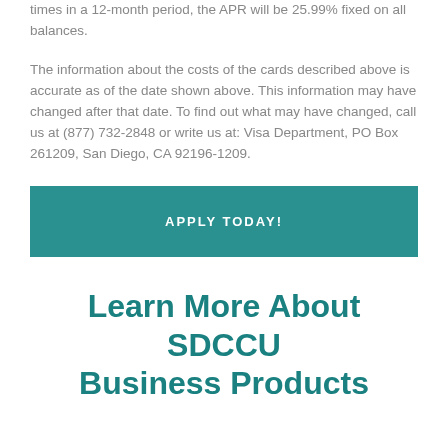times in a 12-month period, the APR will be 25.99% fixed on all balances.
The information about the costs of the cards described above is accurate as of the date shown above. This information may have changed after that date. To find out what may have changed, call us at (877) 732-2848 or write us at: Visa Department, PO Box 261209, San Diego, CA 92196-1209.
APPLY TODAY!
Learn More About SDCCU Business Products